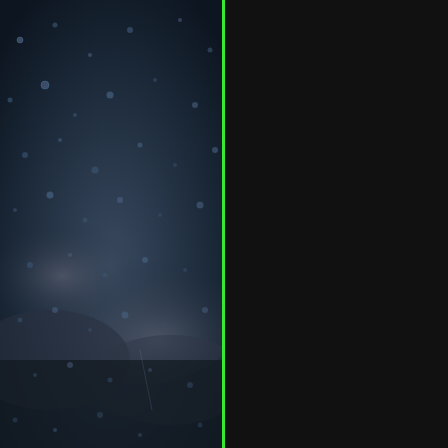[Figure (photo): Dark blue-gray photo of raindrops or water droplets on a glass surface with blurry dark stormy clouds visible behind. A bright green vertical line divides the left photo panel from the right content panel.]
[Figure (screenshot): Blue background screenshot/slide with bold white text reading: 'signs that followed. A... reported all these inst... and his companions. A... Himself sent out throu... to west the sacred an... proclamation of eterna...' followed by an em dash.]
you really believe the... although God does n... who was bitten for th... Malta. It was divine i... attestation to Paul tha... preach the gospel on... When they came out,... have to have purpose... even be showing off.